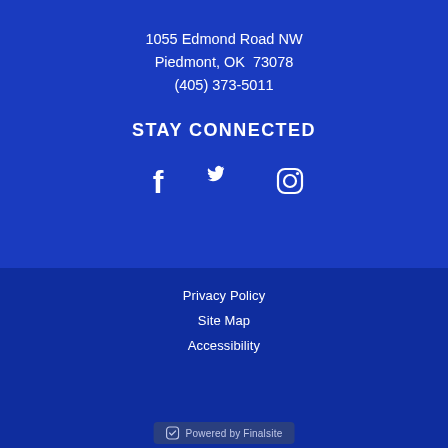1055 Edmond Road NW
Piedmont, OK  73078
(405) 373-5011
STAY CONNECTED
[Figure (infographic): Social media icons: Facebook, Twitter, Instagram]
Privacy Policy
Site Map
Accessibility
Powered by Finalsite